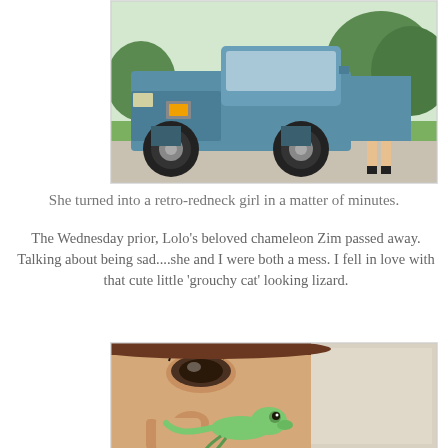[Figure (photo): A young woman in a purple skirt posing next to a large lifted blue Chevrolet pickup truck on a driveway, with green trees in background]
She turned into a retro-redneck girl in a matter of minutes.
The Wednesday prior, Lolo's beloved chameleon Zim passed away. Talking about being sad....she and I were both a mess. I fell in love with that cute little 'grouchy cat' looking lizard.
[Figure (photo): Close-up selfie of a young woman holding a small green chameleon lizard very close to her face]